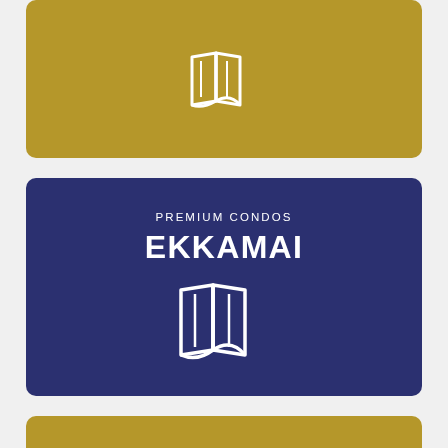[Figure (illustration): Gold card (top, partially visible) with a white map/book icon]
[Figure (illustration): Navy blue card labeled PREMIUM CONDOS EKKAMAI with white map icon]
PREMIUM CONDOS
EKKAMAI
[Figure (illustration): Gold card labeled NEW CONDOS NANA with map icon (partially visible)]
NEW CONDOS
NANA